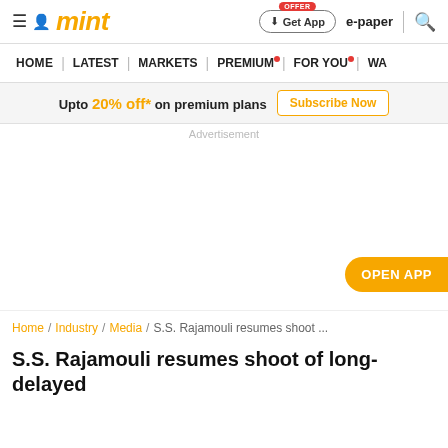mint
HOME | LATEST | MARKETS | PREMIUM | FOR YOU | WA
Upto 20% off* on premium plans Subscribe Now
Advertisement
OPEN APP
Home / Industry / Media / S.S. Rajamouli resumes shoot ...
S.S. Rajamouli resumes shoot of long-delayed